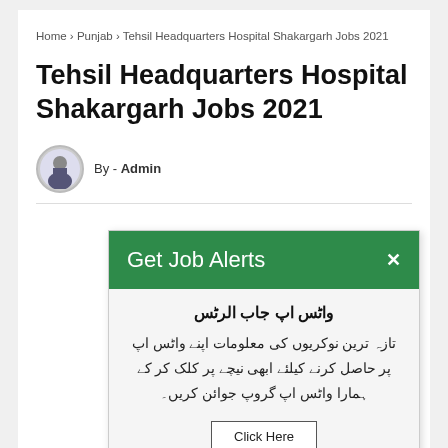Home > Punjab > Tehsil Headquarters Hospital Shakargarh Jobs 2021
Tehsil Headquarters Hospital Shakargarh Jobs 2021
By - Admin
[Figure (infographic): Popup notification card with green header 'Get Job Alerts', close button (×), and Urdu text body with a 'Click Here' button]
واٹس اپ جاب الرٹس
تازہ ترین نوکریوں کی معلومات اپنے واٹس اپ پر حاصل کرنے کیلئے ابھی نیچے پر کلک کر کے ہمارا واٹس اپ گروپ جوائن کریں۔
Click Here